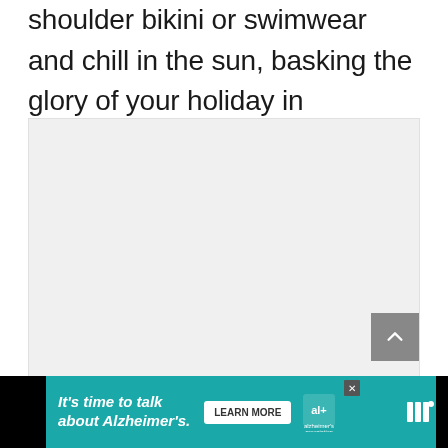shoulder bikini or swimwear and chill in the sun, basking the glory of your holiday in complete style.
[Figure (photo): Light grey placeholder image area (content not visible)]
[Figure (screenshot): Advertisement banner: 'It's time to talk about Alzheimer's.' with Learn More button and Alzheimer's Association logo on teal background, with brand watermark icon on black bar]